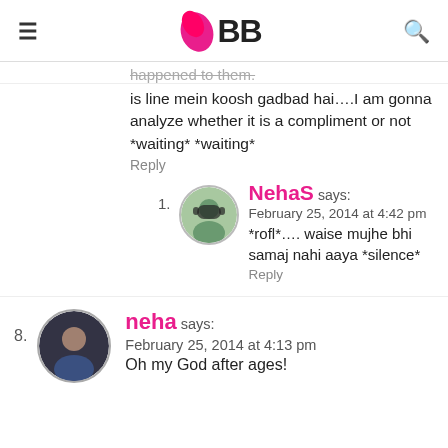IMBB
happened to them.
is line mein koosh gadbad hai….I am gonna analyze whether it is a compliment or not *waiting* *waiting*
Reply
NehaS says:
February 25, 2014 at 4:42 pm
*rofl*…. waise mujhe bhi samaj nahi aaya *silence*
Reply
neha says:
February 25, 2014 at 4:13 pm
Oh my God after ages!